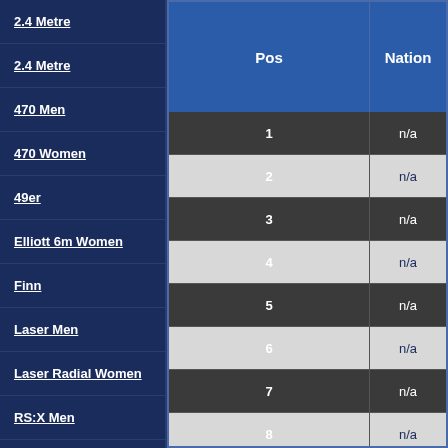2.4 Metre
2.4 Metre
470 Men
470 Women
49er
Elliott 6m Women
Finn
Laser Men
Laser Radial Women
RS:X Men
RS:X Women
| Pos | Nation |
| --- | --- |
| 1 | n/a |
| 2 | n/a |
| 3 | n/a |
| 4 | n/a |
| 5 | n/a |
| 6 | n/a |
| 7 | n/a |
| 8 | n/a |